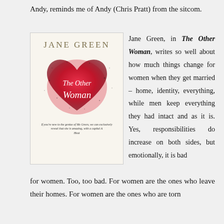Andy, reminds me of Andy (Chris Pratt) from the sitcom.
[Figure (illustration): Book cover of 'The Other Woman' by Jane Green. Features author name 'JANE GREEN' in uppercase gold letters at top, with a large red/pink glowing heart shape in the center containing the cursive title 'The Other Woman' in white script. Background is light cream. Small text blurb at bottom.]
Jane Green, in The Other Woman, writes so well about how much things change for women when they get married – home, identity, everything, while men keep everything they had intact and as it is. Yes, responsibilities do increase on both sides, but emotionally, it is bad for women. Too, too bad. For women are the ones who leave their homes. For women are the ones who are torn